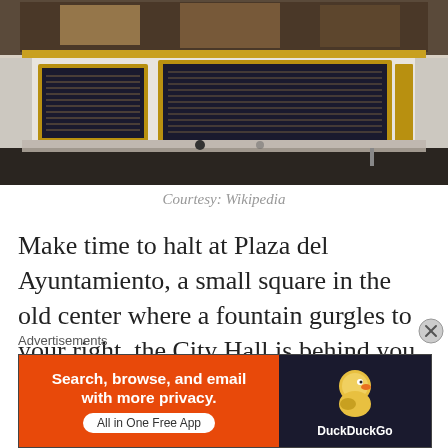[Figure (photo): Interior of a historic building or cathedral showing ornate gold-framed panels with text inscriptions mounted on a marble wall, below a large painting. Black marble floor visible at bottom.]
Courtesy: Wikipedia
Make time to halt at Plaza del Ayuntamiento, a small square in the old center where a fountain gurgles to your right, the City Hall is behind you, and right ahead is the highlight of the town, rising high above the cramped medieval clutter, Toledo Cathedral is possibly
Advertisements
[Figure (screenshot): DuckDuckGo advertisement banner: orange left panel with text 'Search, browse, and email with more privacy. All in One Free App' and dark right panel with DuckDuckGo duck logo and text.]